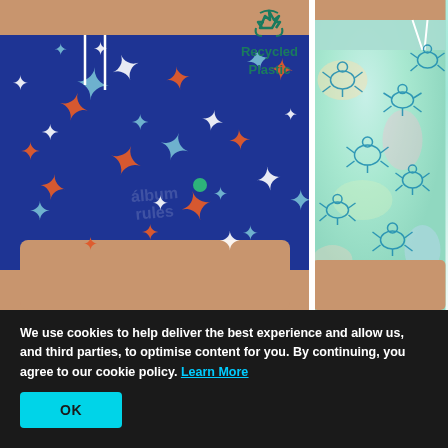[Figure (photo): Two swimsuit/board shorts product photos side by side. Left: navy blue shorts with orange, white and light blue starfish pattern, with a 'Recycled Plastic' badge (teal recycling icon) in the top right corner of the image. Right: mint/aqua shorts with blue turtle pattern on a pastel tie-dye background. Both shown on male models cropped at waist.]
We use cookies to help deliver the best experience and allow us, and third parties, to optimise content for you. By continuing, you agree to our cookie policy.  Learn More
OK